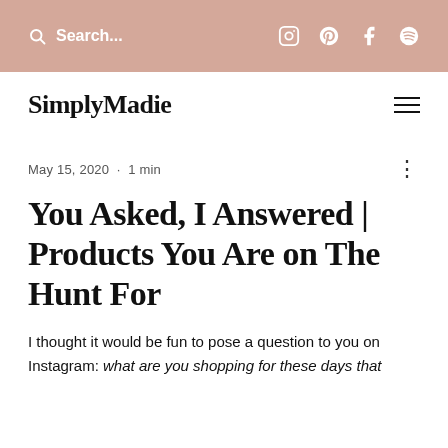Search... [Instagram] [Pinterest] [Facebook] [Spotify]
SimplyMadie
May 15, 2020 · 1 min
You Asked, I Answered | Products You Are on The Hunt For
I thought it would be fun to pose a question to you on Instagram: what are you shopping for these days that you haven't found yet?